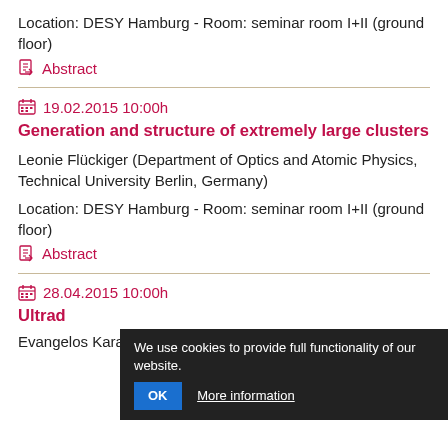Location: DESY Hamburg - Room: seminar room I+II (ground floor)
Abstract
19.02.2015 10:00h
Generation and structure of extremely large clusters
Leonie Flückiger (Department of Optics and Atomic Physics, Technical University Berlin, Germany)
Location: DESY Hamburg - Room: seminar room I+II (ground floor)
Abstract
28.04.2015 10:00h
Ultrad
Evangelos Karamatskos (Universität Hamburg)
We use cookies to provide full functionality of our website. OK More information